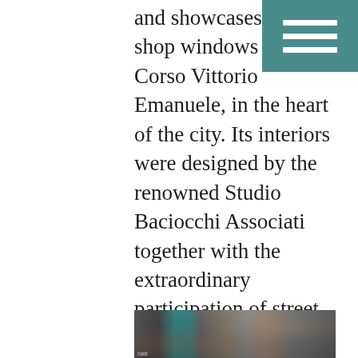and showcases eight shop windows on Corso Vittorio Emanuele, in the heart of the city. Its interiors were designed by the renowned Studio Baciocchi Associati together with the extraordinary participation of street artist Jorit Agoch with the aim to fully express our respect for tradition while reinterpreting the classic standards of beauty, innovation and creativity. Our aim is to create a project through which the final consumer can live a unique and irresistible experience.
[Figure (photo): Interior photo of a retail/restaurant space showing industrial-style metallic decor with teal/turquoise column accents, metal ductwork, shelving with products, and warm ambient lighting. Credit: Baciocchi Associati]